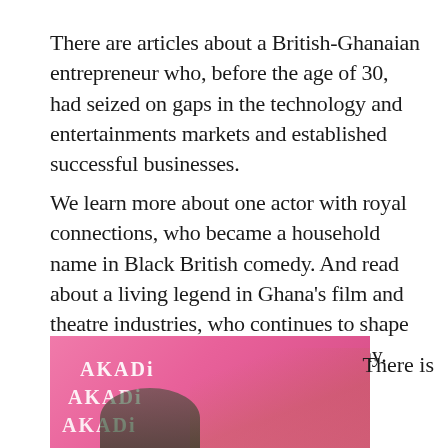There are articles about a British-Ghanaian entrepreneur who, before the age of 30, had seized on gaps in the technology and entertainments markets and established successful businesses.
We learn more about one actor with royal connections, who became a household name in Black British comedy. And read about a living legend in Ghana's film and theatre industries, who continues to shape and inspire many in the business today.
[Figure (photo): A pink magazine cover showing the AKADi magazine logo in white text, with hands and a head visible, partially cropped at the bottom of the page.]
There is